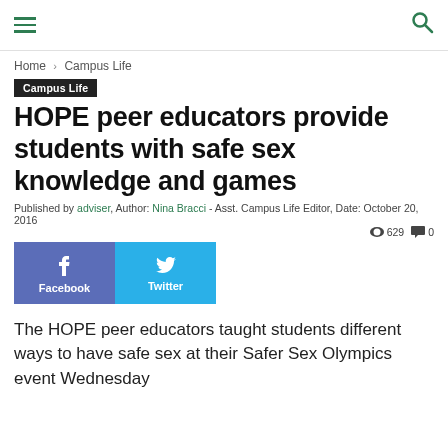Navigation header with hamburger menu and search icon
Home › Campus Life
Campus Life
HOPE peer educators provide students with safe sex knowledge and games
Published by adviser, Author: Nina Bracci - Asst. Campus Life Editor, Date: October 20, 2016  629  0
[Figure (infographic): Social sharing buttons for Facebook and Twitter]
The HOPE peer educators taught students different ways to have safe sex at their Safer Sex Olympics event Wednesday